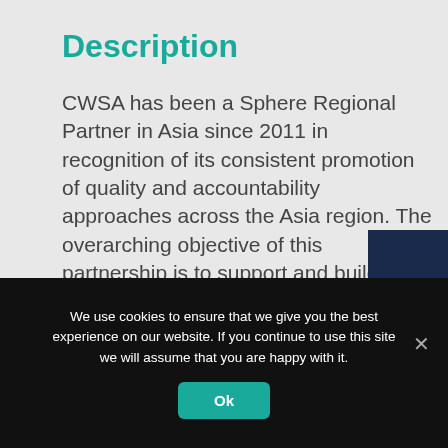Description
CWSA has been a Sphere Regional Partner in Asia since 2011 in recognition of its consistent promotion of quality and accountability approaches across the Asia region. The overarching objective of this partnership is to support and build on the valuable
[Figure (illustration): Dark blue rectangular panel with a circular outline graphic, partially visible on the right side of the page]
We use cookies to ensure that we give you the best experience on our website. If you continue to use this site we will assume that you are happy with it.
Ok